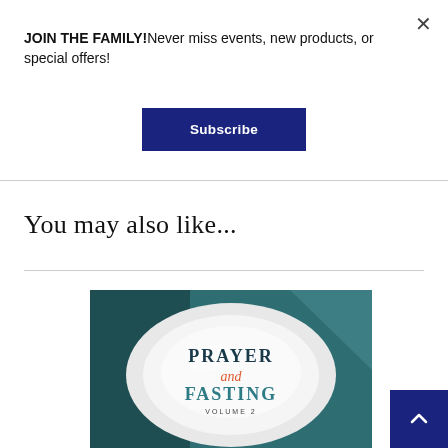JOIN THE FAMILY!Never miss events, new products, or special offers!
Subscribe
You may also like...
[Figure (photo): Book or media product cover titled 'Prayer and Fasting Volume 2' featuring a white plate on a teal/dark background]